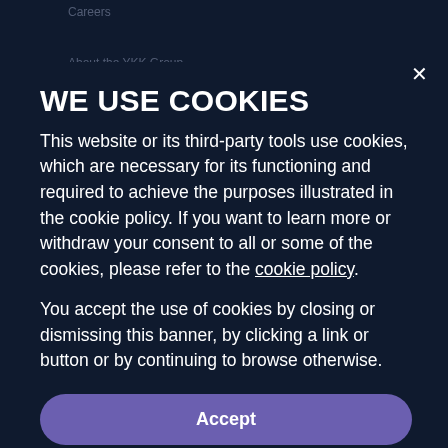Careers
About the YKK Group
Corporate Social Responsibility
News & Events
WE USE COOKIES
This website or its third-party tools use cookies, which are necessary for its functioning and required to achieve the purposes illustrated in the cookie policy. If you want to learn more or withdraw your consent to all or some of the cookies, please refer to the cookie policy.
You accept the use of cookies by closing or dismissing this banner, by clicking a link or button or by continuing to browse otherwise.
Accept
Learn More